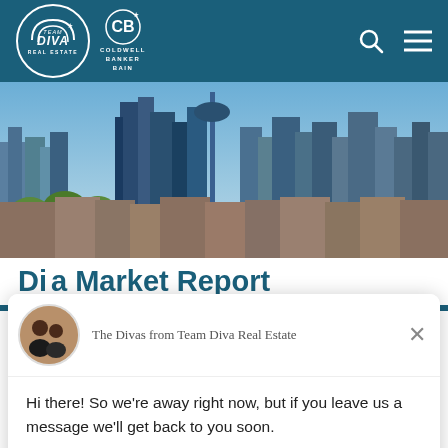Team Diva Real Estate | Coldwell Banker Bain
[Figure (photo): Aerial/skyline photograph of Seattle city with blue sky, skyscrapers, and greenery]
Diva Market Report
[Figure (photo): Chat popup from The Divas from Team Diva Real Estate with avatar photo of two women]
Hi there! So we're away right now, but if you leave us a message we'll get back to you soon.
Reply to The Divas
Chat ⚡ by Drift